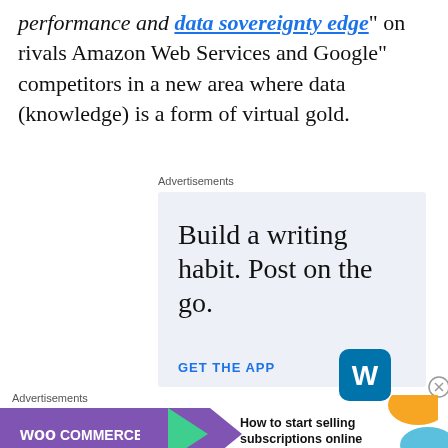performance and “data sovereignty edge” on rivals Amazon Web Services and Google” competitors in a new area where data (knowledge) is a form of virtual gold.
Advertisements
[Figure (illustration): WordPress app advertisement with text 'Build a writing habit. Post on the go.' and 'GET THE APP' button with WordPress logo]
Advertisements
[Figure (illustration): WooCommerce advertisement with text 'How to start selling subscriptions online']